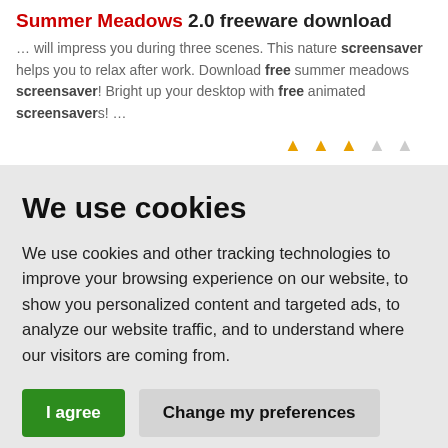Summer Meadows 2.0 freeware download
… will impress you during three scenes. This nature screensaver helps you to relax after work. Download free summer meadows screensaver! Bright up your desktop with free animated screensavers! …
[Figure (other): Star rating icons: 3 filled orange stars and 2 empty/grey stars]
We use cookies
We use cookies and other tracking technologies to improve your browsing experience on our website, to show you personalized content and targeted ads, to analyze our website traffic, and to understand where our visitors are coming from.
I agree | Change my preferences